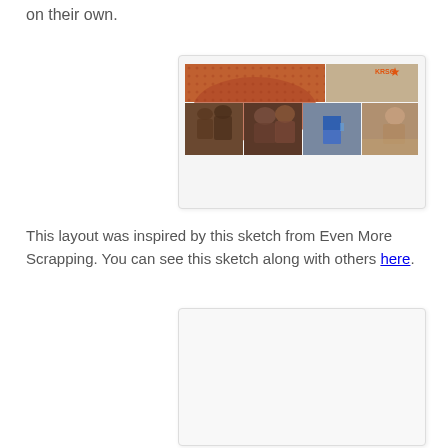on their own.
[Figure (photo): A scrapbook layout showing a collage strip with four photos of people and a house, plus an orange/brown decorative arch background element and a logo badge in the top right corner.]
This layout was inspired by this sketch from Even More Scrapping. You can see this sketch along with others here.
[Figure (photo): A blank white image placeholder box with light border and shadow.]